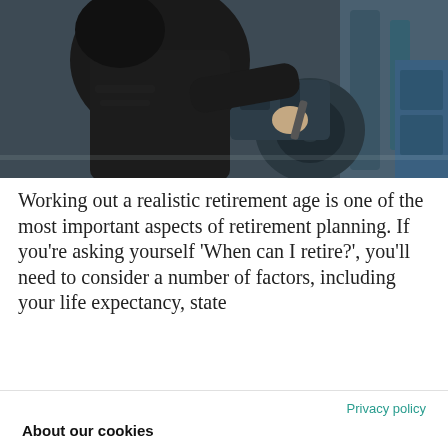[Figure (photo): A mechanic or worker leaning over and working on a motorcycle engine, photographed in dark/industrial setting.]
Working out a realistic retirement age is one of the most important aspects of retirement planning. If you’re asking yourself ‘When can I retire?’, you’ll need to consider a number of factors, including your life expectancy, state
Privacy policy
About our cookies
To help provide you with the best experience on our website, we use cookies to show personalised content, improve our website and measure visitor data. By clicking on or navigating the site, you agree to allow us to collect information through cookies. You can learn more by checking our cookie policy.
Accept all
Manage settings